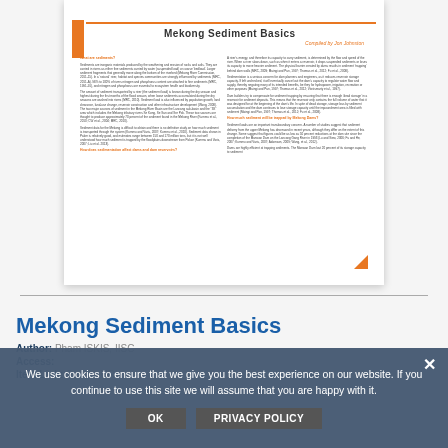[Figure (screenshot): Thumbnail preview of 'Mekong Sediment Basics' document with orange header bar, two-column text layout, and orange triangle in bottom-right corner.]
Mekong Sediment Basics
Author: Pham ISKIS, IISC
Access:
Item Link: Source URL
We use cookies to ensure that we give you the best experience on our website. If you continue to use this site we will assume that you are happy with it.
OK   PRIVACY POLICY